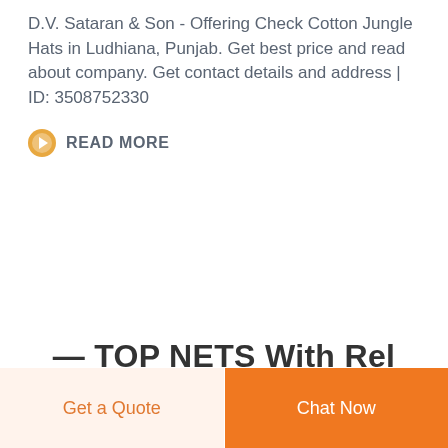D.V. Sataran & Son - Offering Check Cotton Jungle Hats in Ludhiana, Punjab. Get best price and read about company. Get contact details and address | ID: 3508752330
READ MORE
Get a Quote
Chat Now